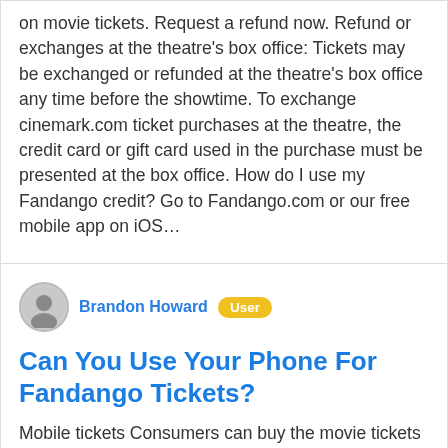on movie tickets. Request a refund now. Refund or exchanges at the theatre's box office: Tickets may be exchanged or refunded at the theatre's box office any time before the showtime. To exchange cinemark.com ticket purchases at the theatre, the credit card or gift card used in the purchase must be presented at the box office. How do I use my Fandango credit? Go to Fandango.com or our free mobile app on iOS…
Brandon Howard
Can You Use Your Phone For Fandango Tickets?
Mobile tickets Consumers can buy the movie tickets via their mobile device and take their handset straight to the theater